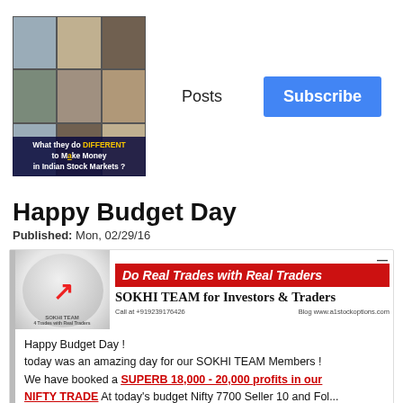[Figure (photo): Grid of 9 face photos with overlay text: 'What they do DIFFERENT to Make Money in Indian Stock Markets?']
Posts
Subscribe
Happy Budget Day
Published: Mon, 02/29/16
[Figure (infographic): SOKHI TEAM banner ad with avatar image, red banner 'Do Real Trades with Real Traders', text 'SOKHI TEAM for Investors & Traders', Call at +919239176426, Blog www.a1stockoptions.com]
Happy Budget Day !
today was an amazing day for our SOKHI TEAM Members !
We have booked a SUPERB 18,000 - 20,000 profits in our NIFTY TRADE...